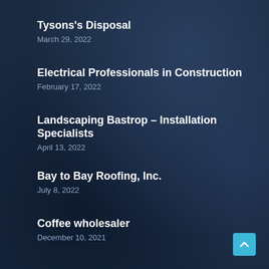Tysons's Disposal
March 29, 2022
Electrical Professionals in Construction
February 17, 2022
Landscaping Bastrop – Installation Specialists
April 13, 2022
Bay to Bay Roofing, Inc.
July 8, 2022
Coffee wholesaler
December 10, 2021